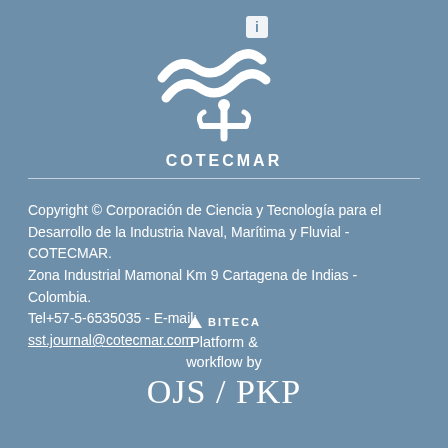[Figure (logo): COTECMAR logo: white stylized waves and anchor icon above the text COTECMAR]
Copyright © Corporación de Ciencia y Tecnología para el Desarrollo de la Industria Naval, Marítima y Fluvial - COTECMAR.
Zona Industrial Mamonal Km 9 Cartagena de Indias - Colombia.
Tel+57-5-6535035 - E-mail:
sst.journal@cotecmar.com
[Figure (logo): ABITECA logo with triangle icon, followed by 'Platform & workflow by OJS / PKP' text]